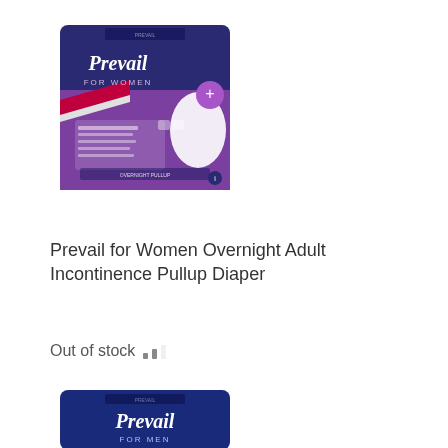[Figure (photo): Prevail for Women product package - purple and navy blue packaging with white oval incontinence pads shown, labeled FOR WOMEN]
Prevail for Women Overnight Adult Incontinence Pullup Diaper
Out of stock
[Figure (photo): Prevail for Men product package - dark navy blue packaging, partially visible at bottom of page, labeled FOR MEN]